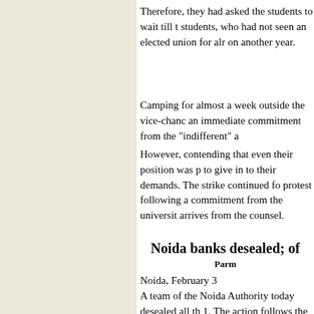Therefore, they had asked the students to wait till t students, who had not seen an elected union for alm on another year.
Camping for almost a week outside the vice-chanc an immediate commitment from the "indifferent" a
However, contending that even their position was p to give in to their demands. The strike continued fo protest following a commitment from the universit arrives from the counsel.
Noida banks desealed; of
Parm
Noida, February 3
A team of the Noida Authority today desealed all th 1. The action follows the Supreme Court's yesterda weeks.
On February 1, the Noida Authority sealed eight ba residential premises. This was done as per an orde
Banks had then moved the court seeking time to sh